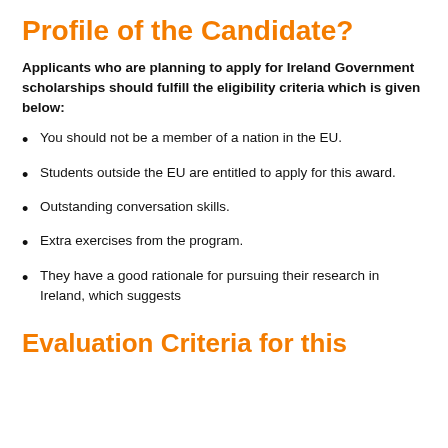Profile of the Candidate?
Applicants who are planning to apply for Ireland Government scholarships should fulfill the eligibility criteria which is given below:
You should not be a member of a nation in the EU.
Students outside the EU are entitled to apply for this award.
Outstanding conversation skills.
Extra exercises from the program.
They have a good rationale for pursuing their research in Ireland, which suggests
Evaluation Criteria for this